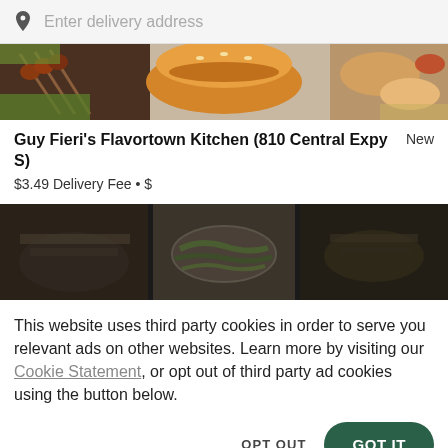Enter delivery address
[Figure (photo): Top banner photo of food items including grilled meat skewers, a burger bun, bread, and various dishes on a light background]
Guy Fieri's Flavortown Kitchen (810 Central Expy S)  New
$3.49 Delivery Fee • $
[Figure (photo): Darkened photo of Asian food dishes including noodles and other items in bowls and plates on a dark table]
This website uses third party cookies in order to serve you relevant ads on other websites. Learn more by visiting our Cookie Statement, or opt out of third party ad cookies using the button below.
OPT OUT
GOT IT